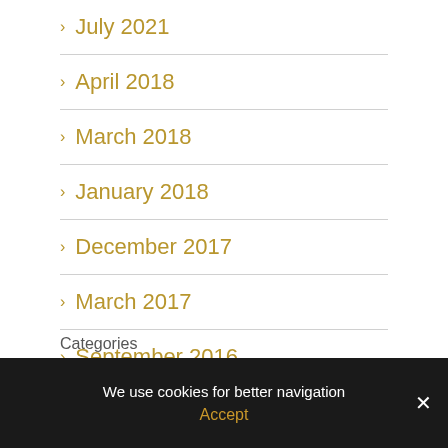July 2021
April 2018
March 2018
January 2018
December 2017
March 2017
September 2016
Categories
We use cookies for better navigation
Accept